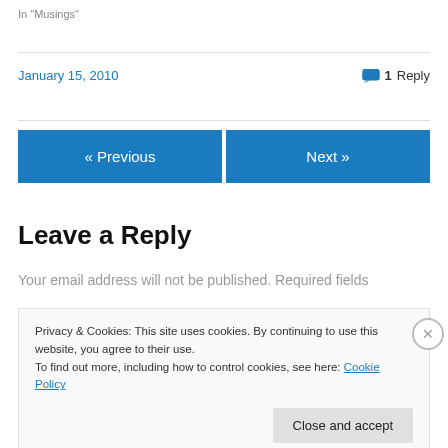In "Musings"
January 15, 2010   💬 1 Reply
« Previous
Next »
Leave a Reply
Your email address will not be published. Required fields
Privacy & Cookies: This site uses cookies. By continuing to use this website, you agree to their use.
To find out more, including how to control cookies, see here: Cookie Policy
Close and accept